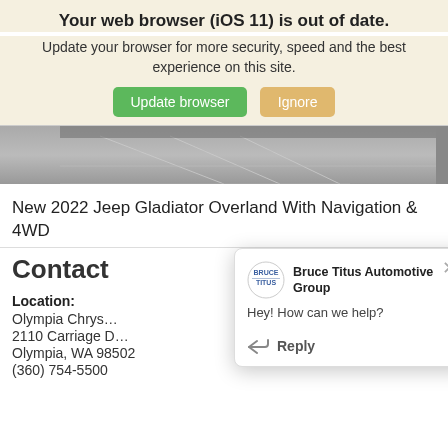Your web browser (iOS 11) is out of date.
Update your browser for more security, speed and the best experience on this site.
[Figure (screenshot): Car photo strip showing floor/interior at top of page]
New 2022 Jeep Gladiator Overland With Navigation & 4WD
Contact
Location:
Olympia Chrys...
2110 Carriage D...
Olympia, WA 98502
(360) 754-5500
[Figure (screenshot): Chat popup from Bruce Titus Automotive Group saying: Hey! How can we help? with a Reply button]
2022 Jeep Gladiator Overland 240 Amp Alternator, Alloy